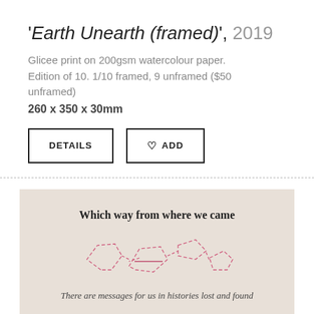'Earth Unearth (framed)', 2019
Glicee print on 200gsm watercolour paper. Edition of 10. 1/10 framed, 9 unframed ($50 unframed)
260 x 350 x 30mm
[Figure (other): Artwork image showing text 'Which way from where we came' with pink dashed geometric line drawing, and text 'There are messages for us in histories lost and found' below on a light grey/beige paper background]